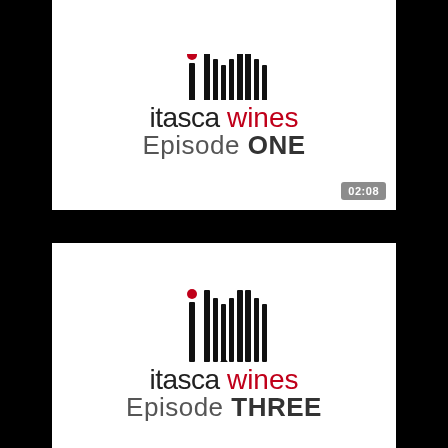[Figure (screenshot): Video thumbnail for Itasca Wines Episode ONE showing the iw logo and brand text with a duration badge of 02:08]
Itasca Wines - Episode ONE
[Figure (screenshot): Video thumbnail for Itasca Wines Episode THREE showing the iw logo and brand text]